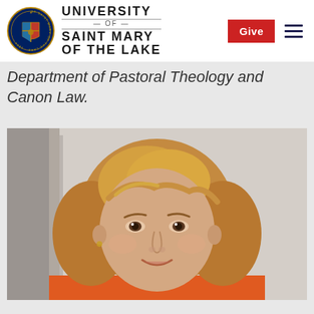University of Saint Mary of the Lake
Department of Pastoral Theology and Canon Law.
[Figure (photo): Headshot photo of a woman with shoulder-length auburn/blonde hair, smiling, wearing an orange top, photographed in an indoor setting with a light-colored wall in the background.]